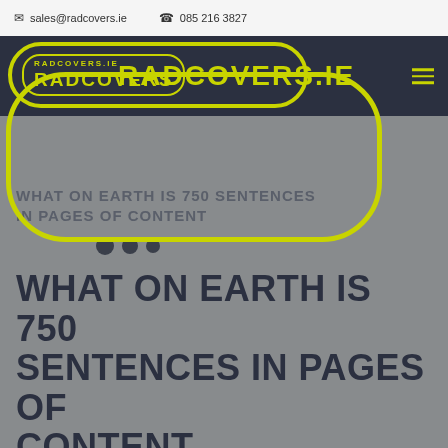sales@radcovers.ie  085 216 3827
[Figure (logo): RADCOVERS.IE logo with yellow border oval highlight overlay on dark navy navigation bar with hamburger menu icon]
WHAT ON EARTH IS 750 SENTENCES IN PAGES OF CONTENT
WHAT ON EARTH IS 750 SENTENCES IN PAGES OF CONTENT
By Seemi Posted July 15, 2020 In blog